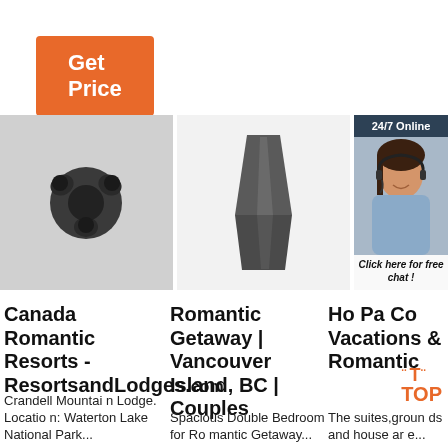[Figure (other): Orange 'Get Price' button]
[Figure (photo): Close-up of a dark metal drill bit / cutting tool on grey background]
[Figure (photo): Dark grey metal tooth-shaped excavator bucket tooth on white background]
[Figure (photo): 24/7 Online customer service agent (woman with headset, smiling) with 'Click here for free chat!' and 'QUOTATION' button overlay]
Canada Romantic Resorts - ResortsandLodges.com
Crandell Mountain Lodge. Location: Waterton Lake National Park...
Romantic Getaway | Vancouver Island, BC | Couples
Spacious Double Bedroom for Romantic Getaway...
Ho Pa Co Vacations & Romantic
The suites, grounds and house ar...